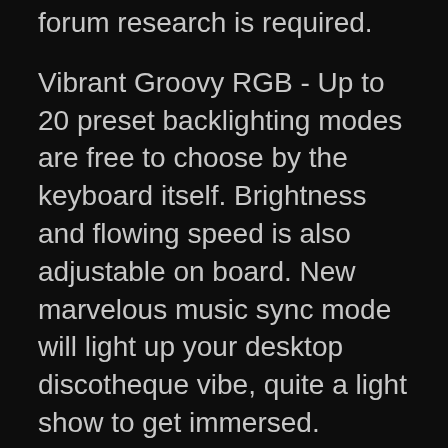forum research is required.
Vibrant Groovy RGB - Up to 20 preset backlighting modes are free to choose by the keyboard itself. Brightness and flowing speed is also adjustable on board. New marvelous music sync mode will light up your desktop discotheque vibe, quite a light show to get immersed.
Pro Software Supported - Expand your options using the available software to design your own new modes and effects. Macros with different keybindings or shortcuts for more efficient work and gaming.